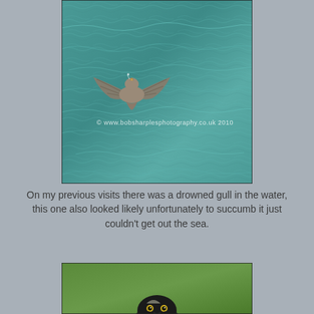[Figure (photo): A seagull/gull in distress in teal-green seawater, wings spread, viewed from above. Watermark text reads: © www.bobsharplesphotography.co.uk 2010]
On my previous visits there was a drowned gull in the water, this one also looked likely unfortunately to succumb it just couldn't get out the sea.
[Figure (photo): Partial view of a bird of prey (falcon/peregrine) against a green background, only the top of the head and eyes visible at bottom of frame.]